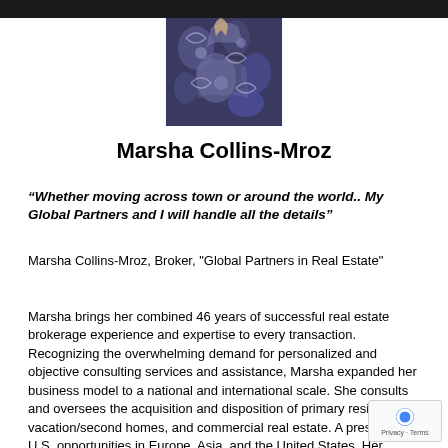[Figure (photo): Profile photo of Marsha Collins-Mroz showing blue and white patterned fabric/clothing, cropped at top of page]
Marsha Collins-Mroz
“Whether moving across town or around the world.. My Global Partners and I will handle all the details”
Marsha Collins-Mroz, Broker, "Global Partners in Real Estate"
Marsha brings her combined 46 years of successful real estate brokerage experience and expertise to every transaction. Recognizing the overwhelming demand for personalized and objective consulting services and assistance, Marsha expanded her business model to a national and international scale. She consults and oversees the acquisition and disposition of primary residences, vacation/second homes, and commercial real estate. A presents on U.S. opportunities in Europe, Asia, and the United States. Her personally vetted network of Global Partners...